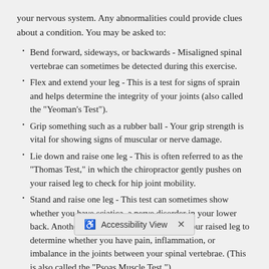your nervous system. Any abnormalities could provide clues about a condition. You may be asked to:
Bend forward, sideways, or backwards - Misaligned spinal vertebrae can sometimes be detected during this exercise.
Flex and extend your leg - This is a test for signs of sprain and helps determine the integrity of your joints (also called the "Yeoman's Test").
Grip something such as a rubber ball - Your grip strength is vital for showing signs of muscular or nerve damage.
Lie down and raise one leg - This is often referred to as the "Thomas Test," in which the chiropractor gently pushes on your raised leg to check for hip joint mobility.
Stand and raise one leg - This test can sometimes show whether you have sciatica, a nerve disorder in your lower back. Another test may involve pushing on your raised leg to determine whether you have pain, inflammation, or imbalance in the joints between your spinal vertebrae. (This is also called the "Psoas Muscle Test.")
Stand or sit - Posture can sometimes show whether you have misalignments in your sp...
Walk a straight line - Th... and helps to